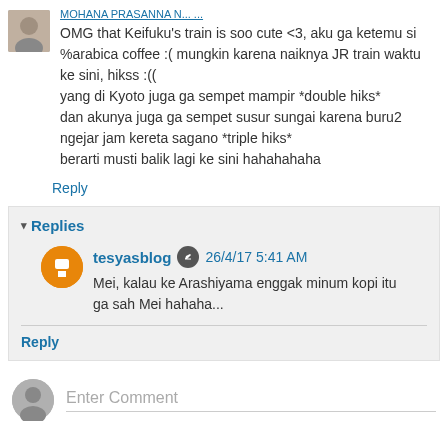OMG that Keifuku's train is soo cute <3, aku ga ketemu si %arabica coffee :( mungkin karena naiknya JR train waktu ke sini, hikss :(( yang di Kyoto juga ga sempet mampir *double hiks* dan akunya juga ga sempet susur sungai karena buru2 ngejar jam kereta sagano *triple hiks* berarti musti balik lagi ke sini hahahahaha
Reply
Replies
tesyasblog  26/4/17 5:41 AM
Mei, kalau ke Arashiyama enggak minum kopi itu ga sah Mei hahaha...
Reply
Enter Comment